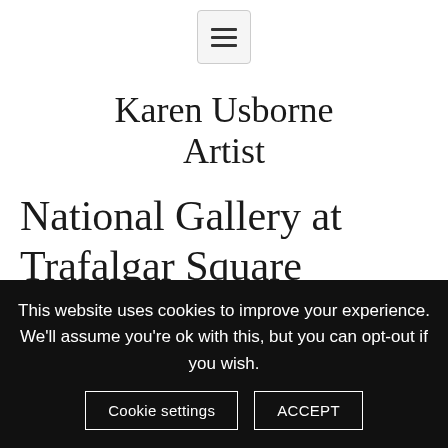[Figure (other): Hamburger menu icon button with three horizontal lines inside a rounded rectangle]
Karen Usborne Artist
National Gallery at Trafalgar Square
Inside the museum, lived a mirror of a classic love story and deception.
This website uses cookies to improve your experience. We'll assume you're ok with this, but you can opt-out if you wish.